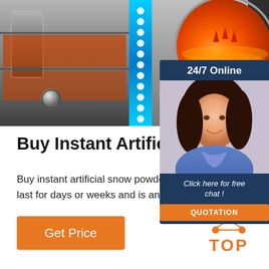[Figure (photo): Hero banner showing industrial equipment/machine on left with blue LED strip, and a circular diagram showing heat/thermal layers on right. Text overlay: '8 Hours W...' and '24/7 Online']
[Figure (photo): Chat widget overlay on right side with '24/7 Online' header, photo of female customer service agent with headset, 'Click here for free chat!' text, and orange QUOTATION button]
Buy Instant Artificial Snow
Buy instant artificial snow powder at lo... wholesale prices. SnoWonder's faux s... last for days or weeks and is an excell... addition to parties or events.
[Figure (other): Orange 'Get Price' button]
[Figure (logo): TOP logo with orange dots arranged in triangle and 'TOP' text in orange]